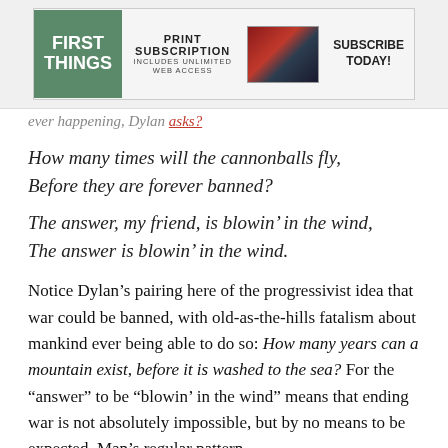[Figure (other): Advertisement banner for First Things magazine showing logo, print subscription offer, device images, and 'Subscribe Today!' call to action]
ever happening, Dylan asks?
How many times will the cannonballs fly,
Before they are forever banned?
The answer, my friend, is blowin’ in the wind,
The answer is blowin’ in the wind.
Notice Dylan’s pairing here of the progressivist idea that war could be banned, with old-as-the-hills fatalism about mankind ever being able to do so: How many years can a mountain exist, before it is washed to the sea? For the “answer” to be “blowin’ in the wind” means that ending war is not absolutely impossible, but by no means to be expected. Man’s regular pattern